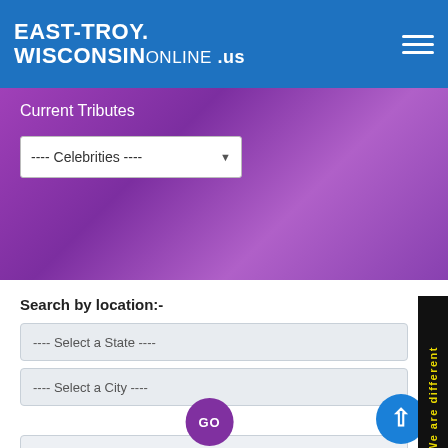EAST-TROY.WISCONSIN ONLINE .us
Current Tributes
---- Celebrities ----
Search by location:-
---- Select a State ----
---- Select a City ----
OR
Enter Zipcode
OR
Search By Name
GO
We are different